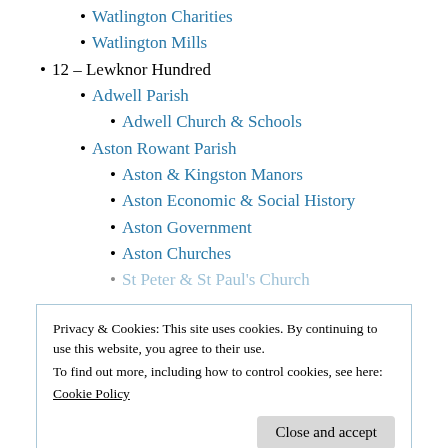Watlington Charities
Watlington Mills
12 – Lewknor Hundred
Adwell Parish
Adwell Church & Schools
Aston Rowant Parish
Aston & Kingston Manors
Aston Economic & Social History
Aston Government
Aston Churches
St Peter & St Paul's Church
Privacy & Cookies: This site uses cookies. By continuing to use this website, you agree to their use.
To find out more, including how to control cookies, see here: Cookie Policy
Kingston Blount